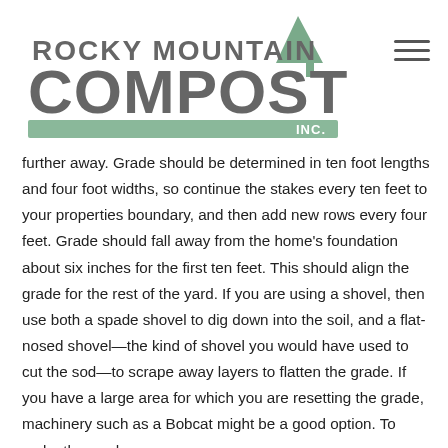[Figure (logo): Rocky Mountain Compost Inc. logo with stylized tree and large text]
further away. Grade should be determined in ten foot lengths and four foot widths, so continue the stakes every ten feet to your properties boundary, and then add new rows every four feet. Grade should fall away from the home's foundation about six inches for the first ten feet. This should align the grade for the rest of the yard. If you are using a shovel, then use both a spade shovel to dig down into the soil, and a flat-nosed shovel—the kind of shovel you would have used to cut the sod—to scrape away layers to flatten the grade. If you have a large area for which you are resetting the grade, machinery such as a Bobcat might be a good option. To make the grade